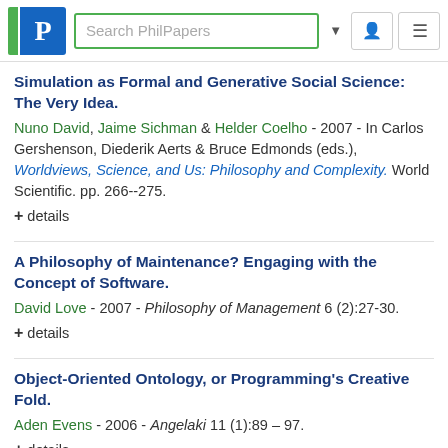Search PhilPapers
Simulation as Formal and Generative Social Science: The Very Idea.
Nuno David, Jaime Sichman & Helder Coelho - 2007 - In Carlos Gershenson, Diederik Aerts & Bruce Edmonds (eds.), Worldviews, Science, and Us: Philosophy and Complexity. World Scientific. pp. 266--275.
+ details
A Philosophy of Maintenance? Engaging with the Concept of Software.
David Love - 2007 - Philosophy of Management 6 (2):27-30.
+ details
Object-Oriented Ontology, or Programming's Creative Fold.
Aden Evens - 2006 - Angelaki 11 (1):89 – 97.
+ details